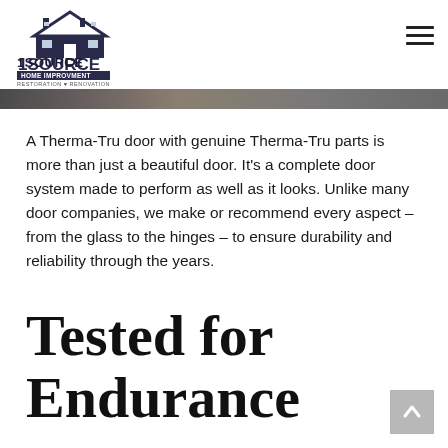1SOURCE HOME IMPROVMENT RESTORATION & RENOVATION
[Figure (photo): Partial image strip showing a door or exterior scene in grayscale]
A Therma-Tru door with genuine Therma-Tru parts is more than just a beautiful door. It’s a complete door system made to perform as well as it looks. Unlike many door companies, we make or recommend every aspect – from the glass to the hinges – to ensure durability and reliability through the years.
Tested for Endurance